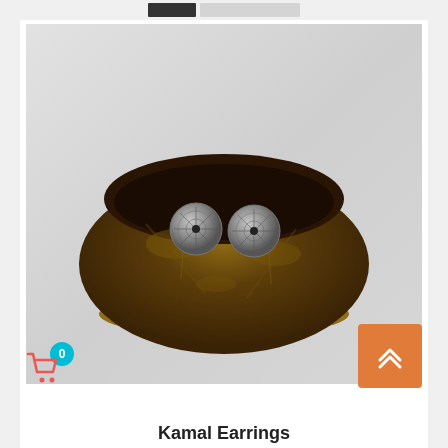Navigation bar with dark and light buttons
[Figure (photo): A coconut shell bowl sitting on a wooden oval saucer, with two silver decorative stud earrings (Kamal Earrings) placed inside the bowl, photographed against a white/light grey fabric background. A shopping cart icon with badge '0' and an orange back-to-top arrow button are overlaid on the image.]
Kamal Earrings